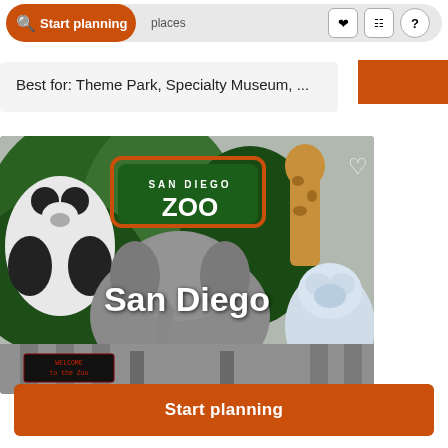[Figure (screenshot): Top navigation bar with orange 'Start planning' button pill, search icon, bookmark icon, grid icon, and help icon]
Best for: Theme Park, Specialty Museum, ...
[Figure (photo): San Diego Zoo billboard/sign showing a panda, elephant, giraffe, and polar bear with the text 'SAN DIEGO ZOO' and overlay text 'San Diego'. A 'Welcome to the Zoo' LED sign is visible at the bottom.]
San Diego
Start planning